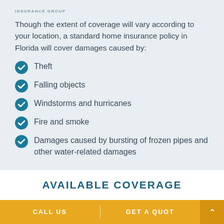INSURANCE GROUP
Though the extent of coverage will vary according to your location, a standard home insurance policy in Florida will cover damages caused by:
Theft
Falling objects
Windstorms and hurricanes
Fire and smoke
Damages caused by bursting of frozen pipes and other water-related damages
AVAILABLE COVERAGE
CALL US | GET A QUOTE